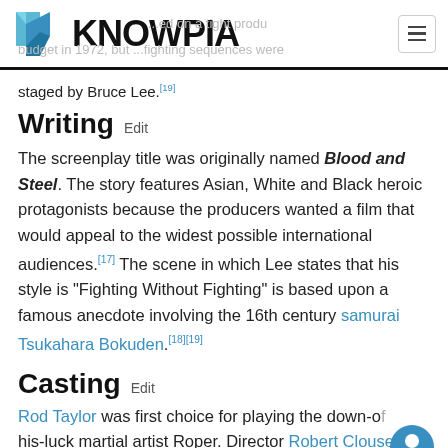KNOWPIA
staged by Bruce Lee.[19]
Writing  Edit
The screenplay title was originally named Blood and Steel. The story features Asian, White and Black heroic protagonists because the producers wanted a film that would appeal to the widest possible international audiences.[17] The scene in which Lee states that his style is "Fighting Without Fighting" is based upon a famous anecdote involving the 16th century samurai Tsukahara Bokuden.[18][19]
Casting  Edit
Rod Taylor was first choice for playing the down-on-his-luck martial artist Roper. Director Robert Clouse